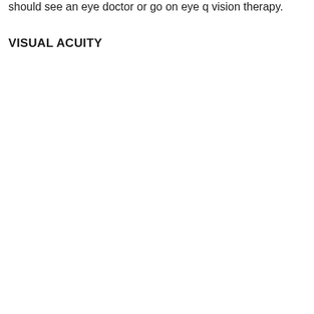should see an eye doctor or go on eye q vision therapy.
VISUAL ACUITY